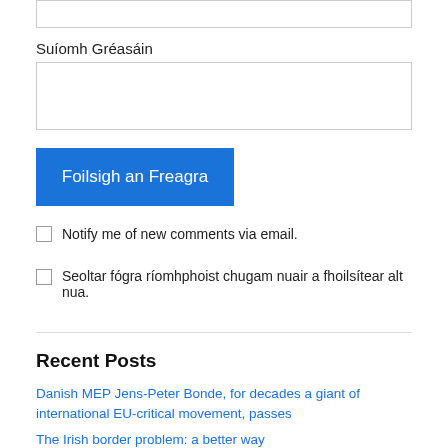Suíomh Gréasáin
[Figure (other): Text input field (top, partially visible)]
[Figure (other): Text input field (large, for website URL)]
Foilsigh an Freagra
Notify me of new comments via email.
Seoltar fógra ríomhphoist chugam nuair a fhoilsítear alt nua.
Recent Posts
Danish MEP Jens-Peter Bonde, for decades a giant of international EU-critical movement, passes
The Irish border problem: a better way